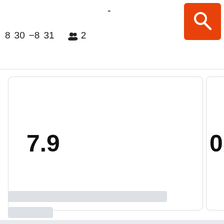-
8  30  -8  31  👥 2
[Figure (screenshot): Orange search button with white magnifying glass icon]
7.9
0.8
[Figure (other): Skeleton loading placeholder bars and rows]